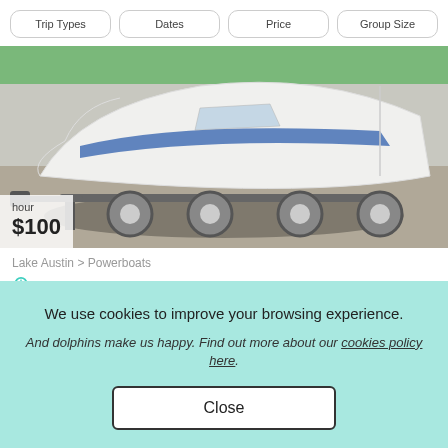Trip Types | Dates | Price | Group Size
[Figure (photo): A white and blue powerboat on a trailer in a parking lot with green grass in the background]
hour
$100
Lake Austin > Powerboats
SUPER OWNER · 7 GUESTS
FIVE STAR** Chaparral 196 Sport On Lake AUSTIN or
We use cookies to improve your browsing experience.
And dolphins make us happy. Find out more about our cookies policy here.
Close